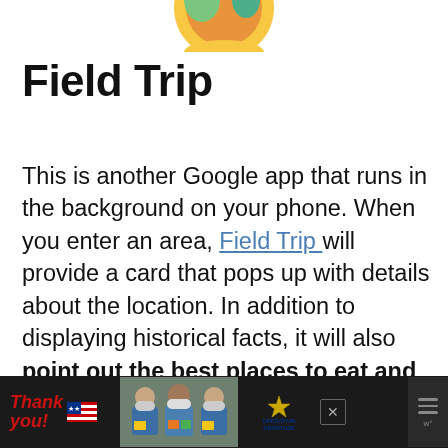[Figure (logo): Partial colorful circular logo at the top center (Field Trip app icon, partially cropped)]
Field Trip
This is another Google app that runs in the background on your phone. When you enter an area, Field Trip will provide a card that pops up with details about the location. In addition to displaying historical facts, it will also point out the best places to eat and drink and guide you to the latest stores and products.
[Figure (photo): Advertisement banner at bottom: 'Thank you!' script text with US flag graphic, photo of three masked healthcare workers holding cards, Operation Gratitude logo, close button X, and menu icon]